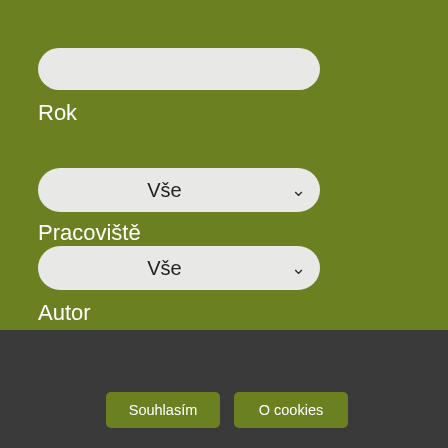[Figure (screenshot): Green background form interface with input fields and dropdown selects for Rok (Year), Pracoviště (Workplace), and Autor (Author) filters on a Czech government/institutional web page.]
Rok
Vše
Pracoviště
Vše
Autor
Užíváme cookies, abychom vám zajistili co možná nejsnadnější použití našich webových stránek. Pokud budete nadále prohlížet naše stránky předpokládáme, že s použitím cookies souhlasíte.
Souhlasím
O cookies